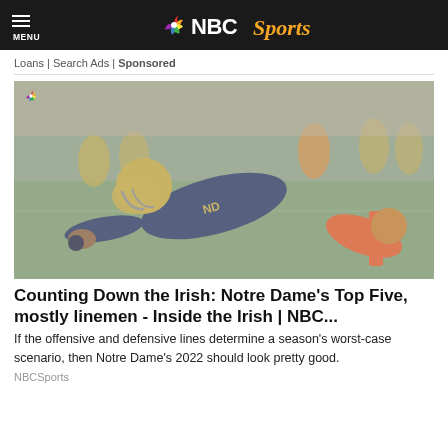MENU | NBC Sports
Loans | Search Ads | Sponsored
[Figure (photo): Notre Dame football player in gold helmet and navy jersey diving toward the end zone pylon, reaching out with the ball, while a defender in an orange jersey falls nearby. Crowd visible in background.]
Counting Down the Irish: Notre Dame's Top Five, mostly linemen - Inside the Irish | NBC...
If the offensive and defensive lines determine a season's worst-case scenario, then Notre Dame's 2022 should look pretty good.
NBCSports